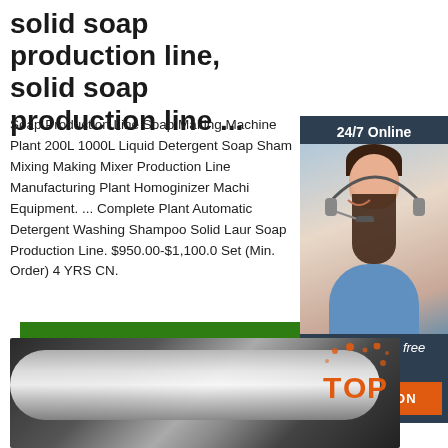solid soap production line, solid soap production line ...
Soap Production Line Soap Making Machine Plant 200L 1000L Liquid Detergent Soap Shampoo Mixing Making Mixer Production Line Manufacturing Plant Homoginizer Machine Equipment. ... Complete Plant Automatic Detergent Washing Shampoo Solid Laundry Soap Production Line. $950.00-$1,100.00 / Set (Min. Order) 4 YRS CN.
[Figure (photo): Customer service representative with headset, sidebar widget with '24/7 Online', 'Click here for free chat!', and 'QUOTATION' button]
[Figure (photo): Close-up of shiny metallic cylinder/roller on dark background with orange TOP badge]